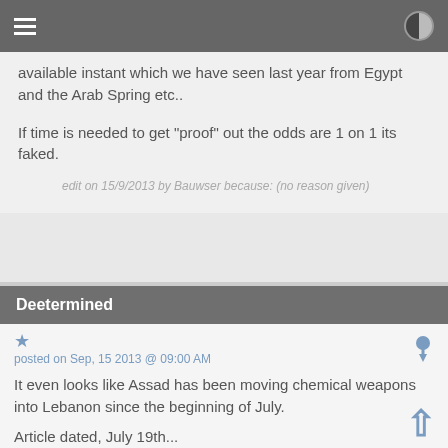Navigation bar with menu and contrast icons
available instant which we have seen last year from Egypt and the Arab Spring etc..
If time is needed to get "proof" out the odds are 1 on 1 its faked.
edit on 15/9/2013 by Bauwser because: (no reason given)
Deetermined
posted on Sep, 15 2013 @ 09:00 AM
It even looks like Assad has been moving chemical weapons into Lebanon since the beginning of July.
Article dated, July 19th...
Al Masri said that the weapons were moved from an area near Damascus to Lebanese territory sometime in the past